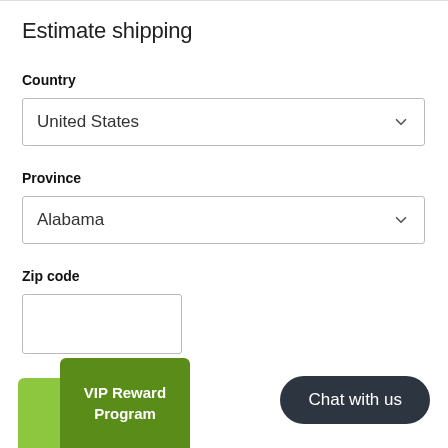Estimate shipping
Country
United States
Province
Alabama
Zip code
VIP Reward Program
Chat with us